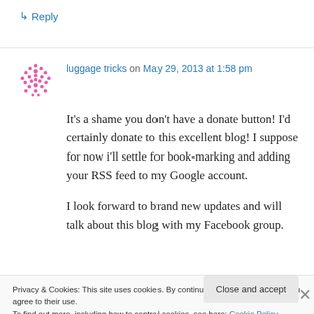↳ Reply
luggage tricks on May 29, 2013 at 1:58 pm
It's a shame you don't have a donate button! I'd certainly donate to this excellent blog! I suppose for now i'll settle for book-marking and adding your RSS feed to my Google account.

I look forward to brand new updates and will talk about this blog with my Facebook group.
Privacy & Cookies: This site uses cookies. By continuing to use this website, you agree to their use. To find out more, including how to control cookies, see here: Cookie Policy